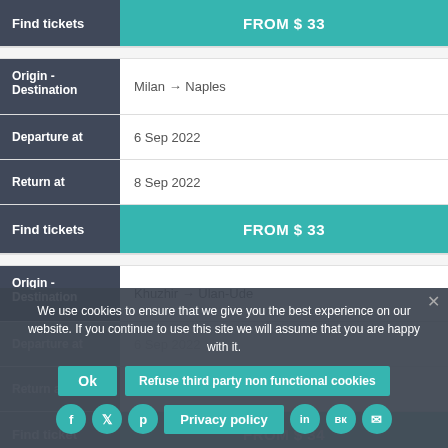| Field | Value |
| --- | --- |
| Find tickets | FROM $ 33 |
| Field | Value |
| --- | --- |
| Origin - Destination | Milan → Naples |
| Departure at | 6 Sep 2022 |
| Return at | 8 Sep 2022 |
| Find tickets | FROM $ 33 |
| Field | Value |
| --- | --- |
| Origin - Destination | Khuzhir → Ulan-Ude |
| Departure at | 6 Sep 2022 |
| Return at | 13 Sep 2022 |
| Find tickets | FROM $ 34 |
We use cookies to ensure that we give you the best experience on our website. If you continue to use this site we will assume that you are happy with it.
Ok
Refuse third party non functional cookies
Privacy policy